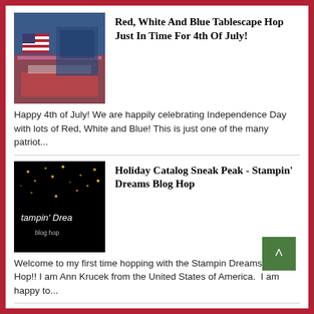[Figure (photo): Thumbnail of red, white and blue outdoor tablescape with patriotic decorations]
Red, White And Blue Tablescape Hop Just In Time For 4th Of July!
Happy 4th of July! We are happily celebrating Independence Day with lots of Red, White and Blue! This is just one of the many patriot...
[Figure (photo): Thumbnail with black background and golden sparkle text for Stampin Dreams Blog Hop]
Holiday Catalog Sneak Peak - Stampin' Dreams Blog Hop
Welcome to my first time hopping with the Stampin Dreams Blog Hop!! I am Ann Krucek from the United States of America. I am happy to...
[Figure (photo): Thumbnail of Easter table setting with blue plates, glassware, and white centerpiece]
Easter Bunny Blues Tablescape
I am definitely not blue about Easter being on it's way, it is just that my Easter table is blue this year! While I fell in love ...